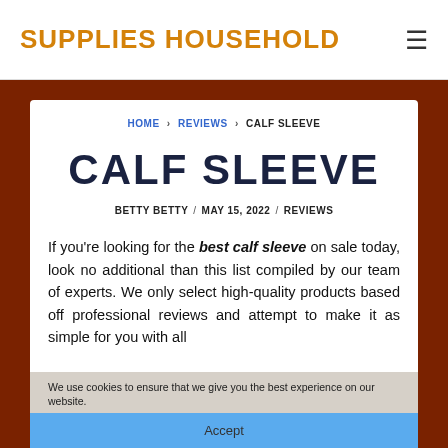SUPPLIES HOUSEHOLD
HOME › REVIEWS › CALF SLEEVE
CALF SLEEVE
BETTY BETTY / MAY 15, 2022 / REVIEWS
If you're looking for the best calf sleeve on sale today, look no additional than this list compiled by our team of experts. We only select high-quality products based off professional reviews and attempt to make it as simple for you with all
We use cookies to ensure that we give you the best experience on our website.
Accept